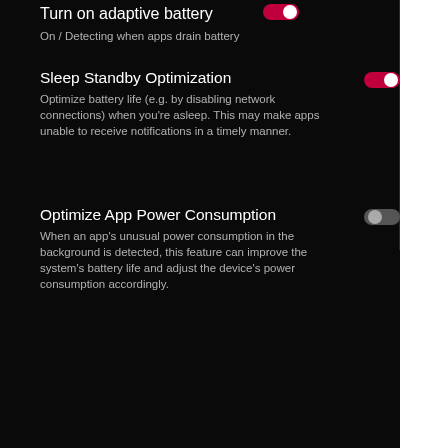[Figure (screenshot): Android battery settings screen (dark mode) showing three toggle settings: 'Turn on adaptive battery' (ON, red toggle), 'Sleep Standby Optimization' (ON, red toggle), and 'Optimize App Power Consumption' (OFF, gray toggle)]